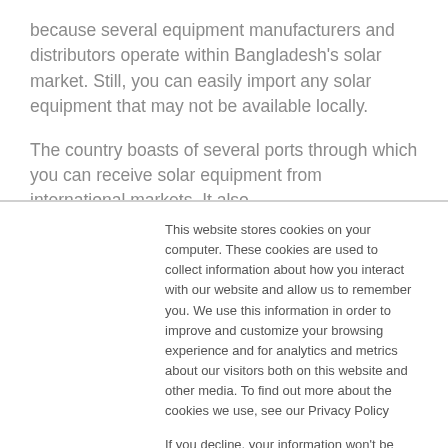because several equipment manufacturers and distributors operate within Bangladesh's solar market. Still, you can easily import any solar equipment that may not be available locally.
The country boasts of several ports through which you can receive solar equipment from international markets. It also
This website stores cookies on your computer. These cookies are used to collect information about how you interact with our website and allow us to remember you. We use this information in order to improve and customize your browsing experience and for analytics and metrics about our visitors both on this website and other media. To find out more about the cookies we use, see our Privacy Policy

If you decline, your information won't be tracked when you visit this website. A single cookie will be used in your browser to remember your preference not to be tracked.